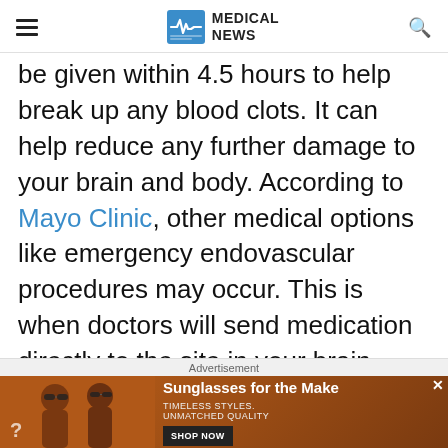Medical News
be given within 4.5 hours to help break up any blood clots. It can help reduce any further damage to your brain and body. According to Mayo Clinic, other medical options like emergency endovascular procedures may occur. This is when doctors will send medication directly to the site in your brain where the stroke is happening. Another option is removing
Advertisement
[Figure (other): Advertisement banner for sunglasses with text 'Sunglasses for the Make', 'TIMELESS STYLES. UNMATCHED QUALITY', and a 'SHOP NOW' button]